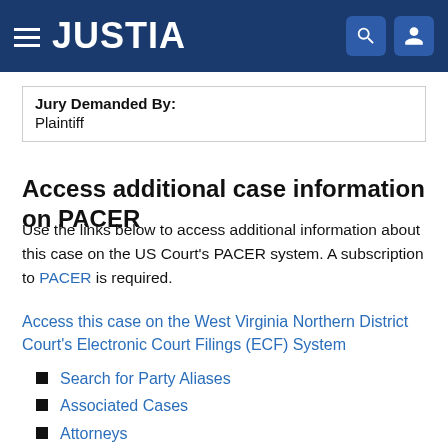JUSTIA
| Jury Demanded By: |
| --- |
| Plaintiff |
Access additional case information on PACER
Use the links below to access additional information about this case on the US Court's PACER system. A subscription to PACER is required.
Access this case on the West Virginia Northern District Court's Electronic Court Filings (ECF) System
Search for Party Aliases
Associated Cases
Attorneys
Case File Location
Case Summary
Docket Report